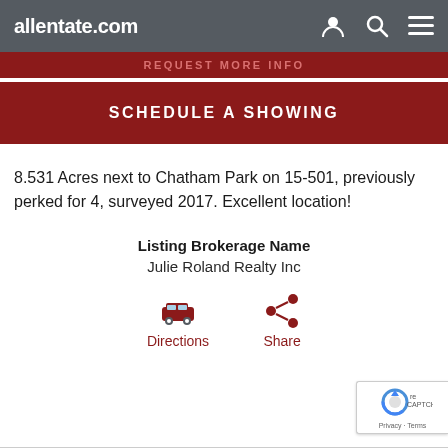allentate.com
REQUEST MORE INFO
SCHEDULE A SHOWING
8.531 Acres next to Chatham Park on 15-501, previously perked for 4, surveyed 2017. Excellent location!
Listing Brokerage Name
Julie Roland Realty Inc
Directions
Share